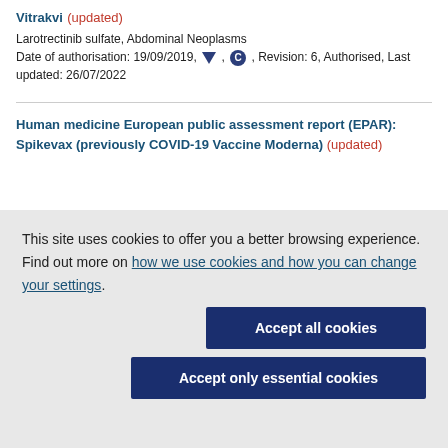Vitrakvi (updated)
Larotrectinib sulfate, Abdominal Neoplasms
Date of authorisation: 19/09/2019, ▼, ©, Revision: 6, Authorised, Last updated: 26/07/2022
Human medicine European public assessment report (EPAR): Spikevax (previously COVID-19 Vaccine Moderna) (updated)
This site uses cookies to offer you a better browsing experience. Find out more on how we use cookies and how you can change your settings.
Accept all cookies
Accept only essential cookies